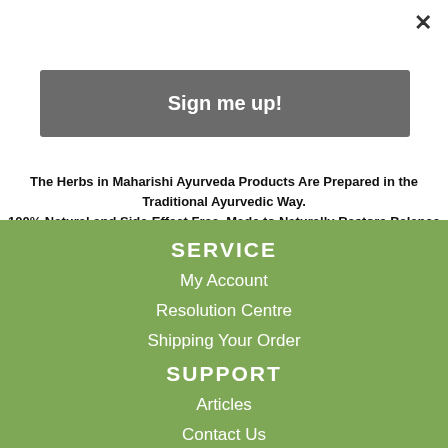×
Sign me up!
The Herbs in Maharishi Ayurveda Products Are Prepared in the Traditional Ayurvedic Way. 100% Natural and Side-Effect Free. Made to Naturally Restore Balance in Your Body. Buy Now!
SERVICE
My Account
Resolution Centre
Shipping Your Order
SUPPORT
Articles
Contact Us